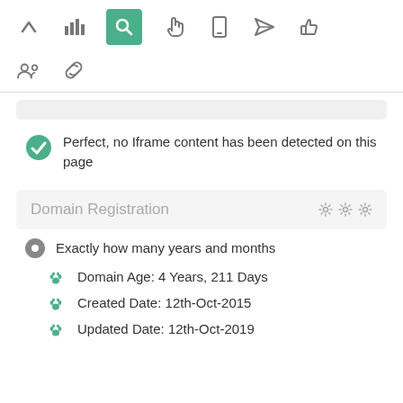[Figure (screenshot): Top navigation toolbar with icons: up arrow, bar chart, search (active/green), pointer hand, mobile, paper airplane, thumbs up]
[Figure (screenshot): Second toolbar row with group/people icon and chain-link icon]
Perfect, no Iframe content has been detected on this page
Domain Registration
Exactly how many years and months
Domain Age: 4 Years, 211 Days
Created Date: 12th-Oct-2015
Updated Date: 12th-Oct-2019